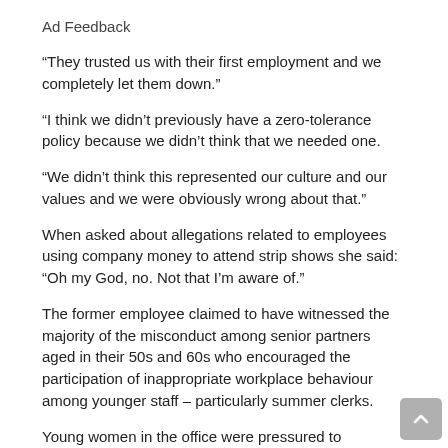Ad Feedback
“They trusted us with their first employment and we completely let them down.”
“I think we didn’t previously have a zero-tolerance policy because we didn’t think that we needed one.
“We didn’t think this represented our culture and our values and we were obviously wrong about that.”
When asked about allegations related to employees using company money to attend strip shows she said: “Oh my God, no. Not that I’m aware of.”
The former employee claimed to have witnessed the majority of the misconduct among senior partners aged in their 50s and 60s who encouraged the participation of inappropriate workplace behaviour among younger staff – particularly summer clerks.
Young women in the office were pressured to “chaperone” parties so clerks had a “good time”.
“A good time would mean going out and getting absolutely